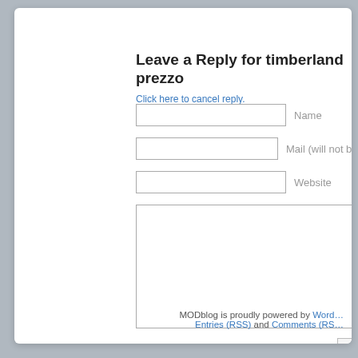Leave a Reply for timberland prezzo
Click here to cancel reply.
Name
Mail (will not be published)
Website
MODblog is proudly powered by WordPress. Entries (RSS) and Comments (RSS).